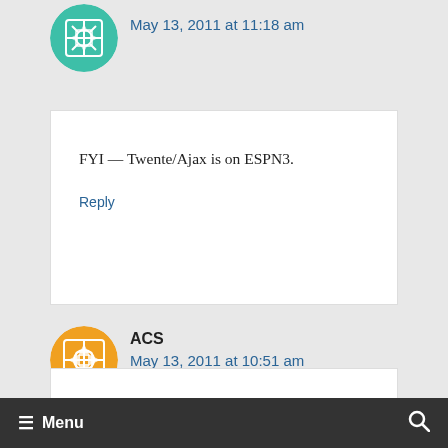May 13, 2011 at 11:18 am
FYI — Twente/Ajax is on ESPN3.
Reply
ACS
May 13, 2011 at 10:51 am
Hopefully Spurs lose and get eight
Menu